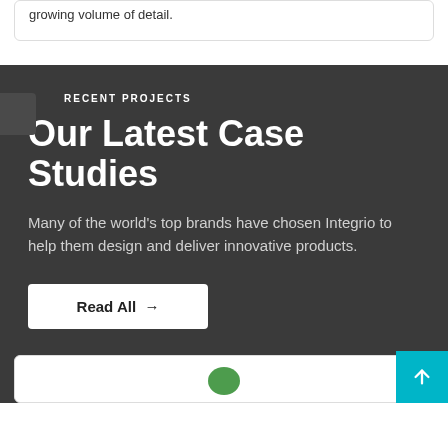growing volume of detail.
RECENT PROJECTS
Our Latest Case Studies
Many of the world's top brands have chosen Integrio to help them design and deliver innovative products.
Read All →